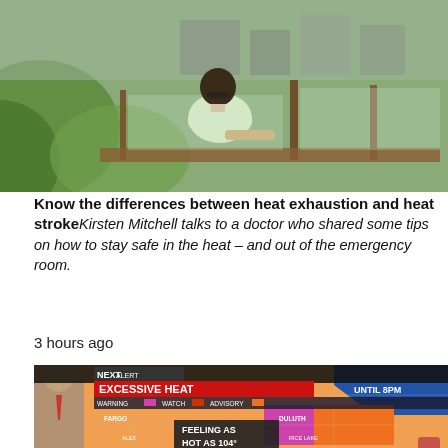[Figure (photo): Person sitting outdoors on a deck or balcony, viewed from behind, with green foliage and urban background visible through glass railing]
Know the differences between heat exhaustion and heat stroke
Kirsten Mitchell talks to a doctor who shared some tips on how to stay safe in the heat – and out of the emergency room.
3 hours ago
[Figure (screenshot): TV weather broadcast screenshot showing NEXT ALERT EXCESSIVE HEAT warning until 8PM with a map showing heat warning, watch, and advisory areas including Fargo, Duluth, Brainerd, Rice Lake, Twin Cities, Willmar, Alexandria areas. Text overlay: FEELING AS HOT AS 104°]